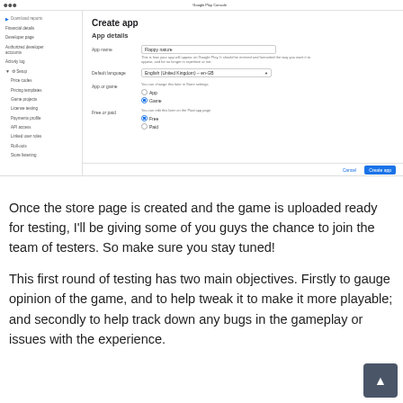[Figure (screenshot): Google Play Console screenshot showing 'Create app' form with App details section. Fields visible: App name (Flappy nature), Default language (English (United Kingdom) – en-GB), App or game (radio buttons: App / Game, with Game selected), Free or paid (radio buttons: Free / Paid, with Free selected). Sidebar shows navigation items including Download reports, Financial details, Developer page, Authorized developers accounts, Activity log, Setup (expanded) with sub-items: Price codes, Pricing templates, Game projects, License testing, Payments profile, API access, Linked user roles, Roll-outs, Store listening. Bottom bar has Cancel and Create app buttons.]
Once the store page is created and the game is uploaded ready for testing, I'll be giving some of you guys the chance to join the team of testers. So make sure you stay tuned!
This first round of testing has two main objectives. Firstly to gauge opinion of the game, and to help tweak it to make it more playable; and secondly to help track down any bugs in the gameplay or issues with the experience.